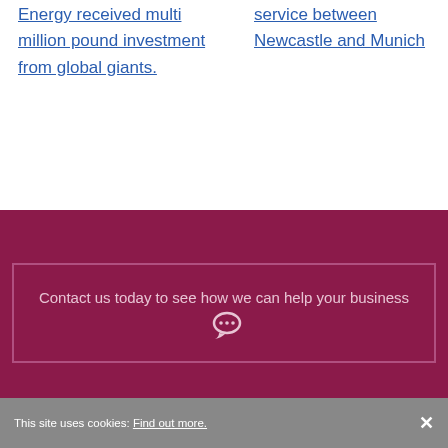Energy received multi million pound investment from global giants.
service between Newcastle and Munich
Contact us today to see how we can help your business
This site uses cookies: Find out more. ×